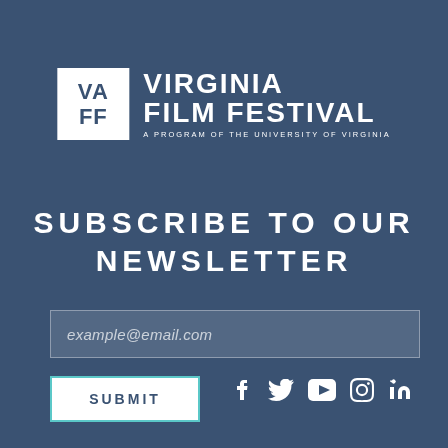[Figure (logo): Virginia Film Festival logo: white square with 'VA FF' text and 'VIRGINIA FILM FESTIVAL' wordmark, subtitle 'A PROGRAM OF THE UNIVERSITY OF VIRGINIA']
SUBSCRIBE TO OUR NEWSLETTER
example@email.com
SUBMIT
[Figure (other): Social media icons: Facebook, Twitter, YouTube, Instagram, LinkedIn]